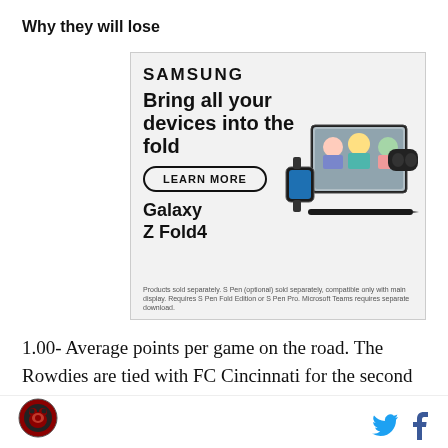Why they will lose
[Figure (photo): Samsung advertisement for Galaxy Z Fold4 showing 'Bring all your devices into the fold' with a Learn More button, product image of smartphone, watch, earbuds, and stylus, along with disclaimer text.]
1.00- Average points per game on the road. The Rowdies are tied with FC Cincinnati for the second